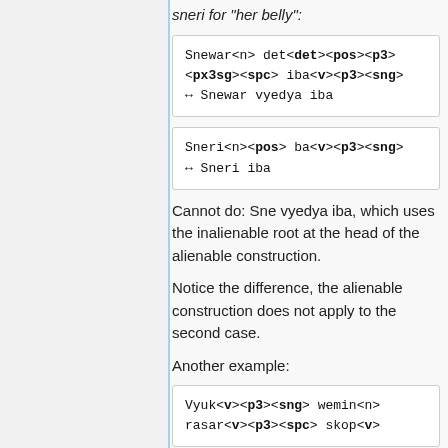sneri for "her belly":
Snewar<n> det<det><pos><p3><px3sg><spc> iba<v><p3><sng> → Snewar vyedya iba
Sneri<n><pos> ba<v><p3><sng> → Sneri iba
Cannot do: Sne vyedya iba, which uses the inalienable root at the head of the alienable construction.
Notice the difference, the alienable construction does not apply to the second case.
Another example:
Vyuk<v><p3><sng> wemin<n> rasar<v><p3><spc> skop<v>